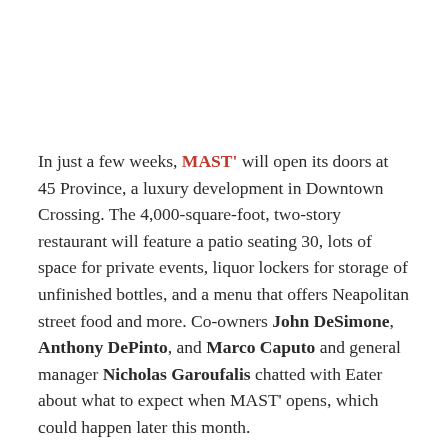In just a few weeks, MAST' will open its doors at 45 Province, a luxury development in Downtown Crossing. The 4,000-square-foot, two-story restaurant will feature a patio seating 30, lots of space for private events, liquor lockers for storage of unfinished bottles, and a menu that offers Neapolitan street food and more. Co-owners John DeSimone, Anthony DePinto, and Marco Caputo and general manager Nicholas Garoufalis chatted with Eater about what to expect when MAST' opens, which could happen later this month.
Where did the concept for MAST' come from? How'd this all get started?